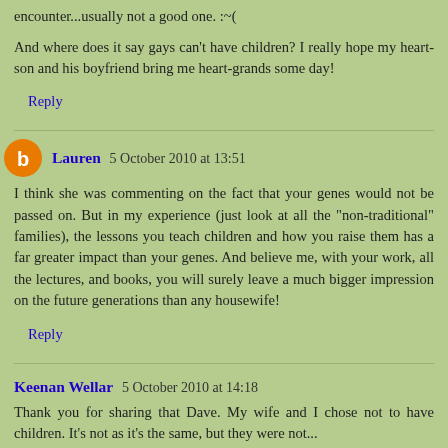encounter...usually not a good one. :~(
And where does it say gays can't have children? I really hope my heart-son and his boyfriend bring me heart-grands some day!
Reply
Lauren  5 October 2010 at 13:51
I think she was commenting on the fact that your genes would not be passed on. But in my experience (just look at all the "non-traditional" families), the lessons you teach children and how you raise them has a far greater impact than your genes. And believe me, with your work, all the lectures, and books, you will surely leave a much bigger impression on the future generations than any housewife!
Reply
Keenan Wellar  5 October 2010 at 14:18
Thank you for sharing that Dave. My wife and I chose not to have children. It's not as it's the same, but they were not...